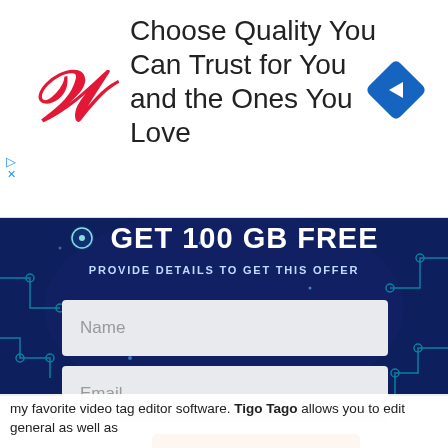[Figure (screenshot): Walgreens advertisement banner with red italic W logo and text 'Choose Quality You Can Trust for You and the Ones You Love', with a blue diamond navigation icon on the right.]
GET 100 GB FREE
PROVIDE DETAILS TO GET THIS OFFER
Name
Email
SUBMIT
my favorite video tag editor software. Tigo Tago allows you to edit general as well as